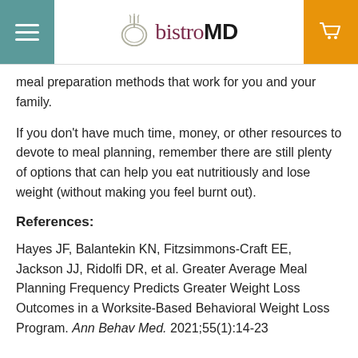bistroMD
meal preparation methods that work for you and your family.
If you don't have much time, money, or other resources to devote to meal planning, remember there are still plenty of options that can help you eat nutritiously and lose weight (without making you feel burnt out).
References:
Hayes JF, Balantekin KN, Fitzsimmons-Craft EE, Jackson JJ, Ridolfi DR, et al. Greater Average Meal Planning Frequency Predicts Greater Weight Loss Outcomes in a Worksite-Based Behavioral Weight Loss Program. Ann Behav Med. 2021;55(1):14-23